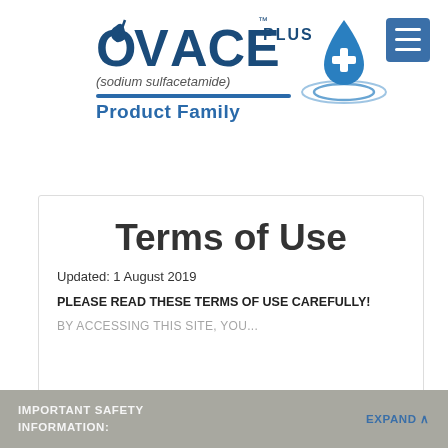[Figure (logo): OVACE PLUS (sodium sulfacetamide) Product Family logo with blue water drop and plus sign]
Terms of Use
Updated: 1 August 2019
PLEASE READ THESE TERMS OF USE CAREFULLY!
BY ACCESSING THIS SITE, YOU...
IMPORTANT SAFETY INFORMATION:    EXPAND ^